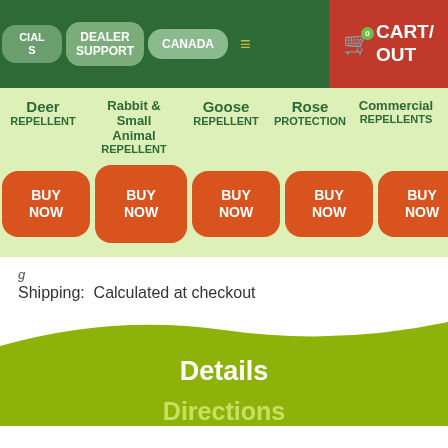CIAL S | DEALER SUPPORT | CANADA | [menu icon] | CART/A OUT
Deer REPELLENT | Rabbit & Small Animal REPELLENT | Goose REPELLENT | Rose PROTECTION | Commercial REPELLENTS
BUY NOW (×5 buttons)
Shipping:  Calculated at checkout
Details
Directions